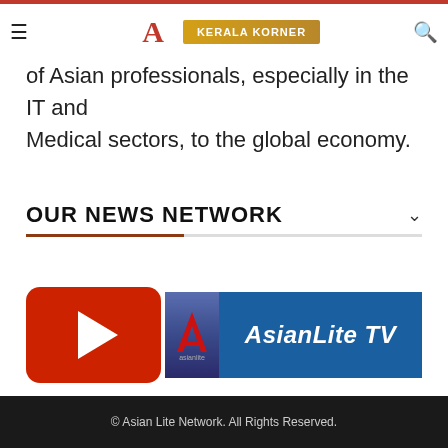KERALA KORNER
of Asian professionals, especially in the IT and Medical sectors, to the global economy.
OUR NEWS NETWORK
[Figure (logo): AsianLite TV logo with YouTube-style red play button and AsianLite TV text on blue background]
© Asian Lite Network. All Rights Reserved.